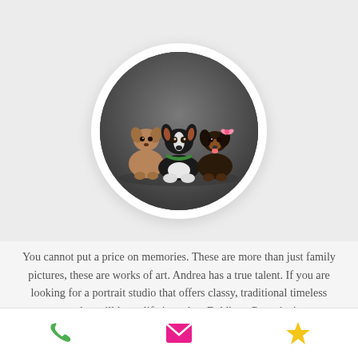[Figure (photo): Circular portrait photo of three dogs posed together on a dark studio background: a light brown small dog on the left, a black and white dog with a green collar in the center, and a dark brown/black dog with pink bow on the right.]
You cannot put a price on memories. These are more than just family pictures, these are works of art. Andrea has a true talent. If you are looking for a portrait studio that offers classy, traditional timeless treasures that will last a lifetime, then Dahlberg Portraits is your studio.
[Figure (infographic): Bottom navigation bar with three icons: a green phone icon on the left, a pink/magenta envelope icon in the center, and a yellow star icon on the right.]